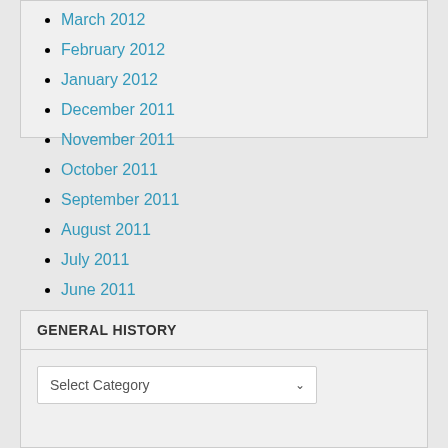March 2012
February 2012
January 2012
December 2011
November 2011
October 2011
September 2011
August 2011
July 2011
June 2011
May 2011
April 2011
GENERAL HISTORY
Select Category